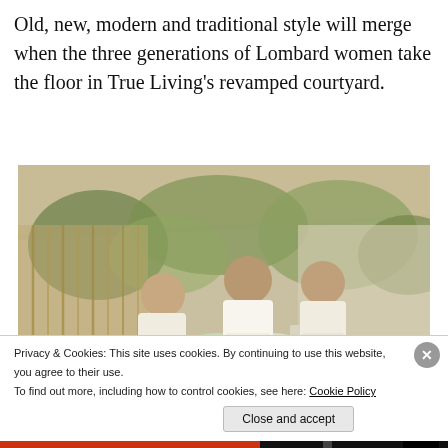Old, new, modern and traditional style will merge when the three generations of Lombard women take the floor in True Living's revamped courtyard.
[Figure (photo): Three women wearing aprons standing around a wooden table in an outdoor courtyard, under a canvas canopy, surrounded by bamboo fencing and lush green plants. Bowls and plates are on the table.]
Privacy & Cookies: This site uses cookies. By continuing to use this website, you agree to their use.
To find out more, including how to control cookies, see here: Cookie Policy
Close and accept